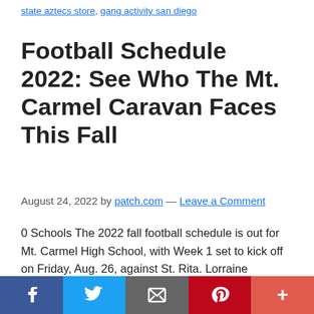state aztecs store, gang activity san diego
Football Schedule 2022: See Who The Mt. Carmel Caravan Faces This Fall
August 24, 2022 by patch.com — Leave a Comment
0 Schools The 2022 fall football schedule is out for Mt. Carmel High School, with Week 1 set to kick off on Friday, Aug. 26, against St. Rita. Lorraine Swanson , Patch Staff Posted Reply CHICAGO — High school football is back in Illinois this fall. Following a season that was postponed in 2020 due
[Figure (infographic): Social sharing bar with Facebook, Twitter, Email, Pinterest, and More (+) buttons]